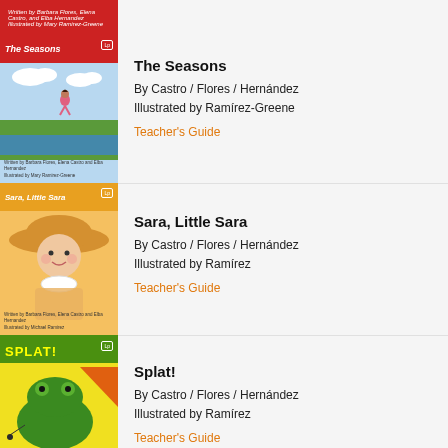[Figure (illustration): Book cover for 'The Seasons' with red top bar and child running on grass near water, blue sky background]
The Seasons
By Castro / Flores / Hernández
Illustrated by Ramírez-Greene
Teacher's Guide
[Figure (illustration): Book cover for 'Sara, Little Sara' showing a young girl in orange hat and floral dress]
Sara, Little Sara
By Castro / Flores / Hernández
Illustrated by Ramírez
Teacher's Guide
[Figure (illustration): Book cover for 'Splat!' showing a frog on yellow background with green top bar]
Splat!
By Castro / Flores / Hernández
Illustrated by Ramírez
Teacher's Guide